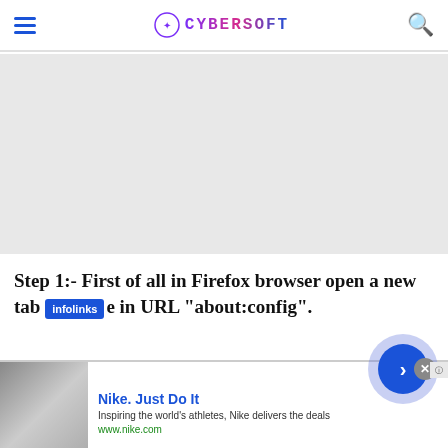CYBERSOFT (logo/header navigation bar)
[Figure (other): Gray advertisement banner area (empty/placeholder ad space)]
Step 1:- First of all in Firefox browser open a new tab and type in URL "about:config".
[Figure (other): Nike advertisement overlay showing Nike shoe image, 'Nike. Just Do It' heading, 'Inspiring the world's athletes, Nike delivers the deals', www.nike.com URL, with close button and arrow navigation button]